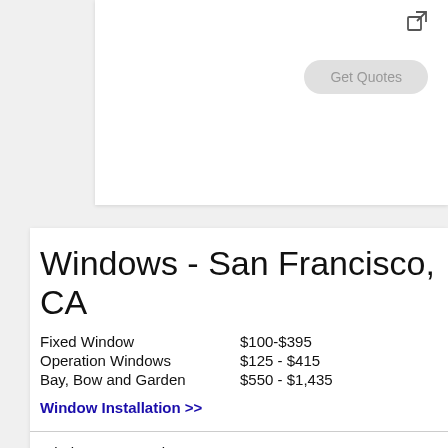[Figure (screenshot): Top card fragment with external link icon and 'Get Quotes' button visible]
Windows - San Francisco, CA
| Fixed Window | $100-$395 |
| Operation Windows | $125 - $415 |
| Bay, Bow and Garden | $550 - $1,435 |
Window Installation >>
Windows Companies:12
NearBy Cities:50
Median Household Income: $123,859
Occupied Home Units: 345,811